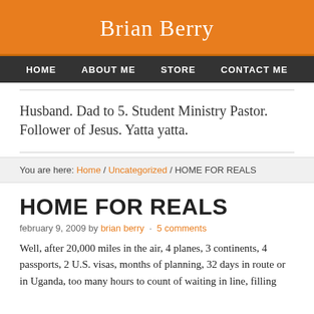Brian Berry
HOME   ABOUT ME   STORE   CONTACT ME
Husband. Dad to 5. Student Ministry Pastor. Follower of Jesus. Yatta yatta.
You are here: Home / Uncategorized / HOME FOR REALS
HOME FOR REALS
february 9, 2009 by brian berry · 5 comments
Well, after 20,000 miles in the air, 4 planes, 3 continents, 4 passports, 2 U.S. visas, months of planning, 32 days in route or in Uganda, too many hours to count of waiting in line, filling out ...